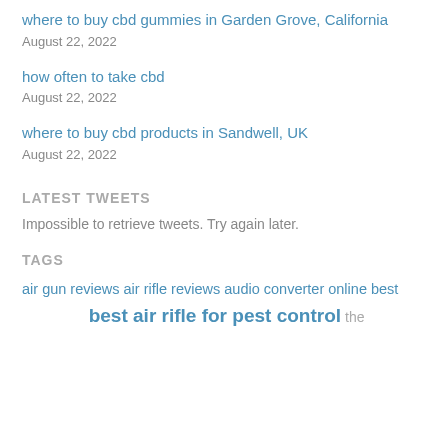where to buy cbd gummies in Garden Grove, California
August 22, 2022
how often to take cbd
August 22, 2022
where to buy cbd products in Sandwell, UK
August 22, 2022
LATEST TWEETS
Impossible to retrieve tweets. Try again later.
TAGS
air gun reviews air rifle reviews audio converter online best … best air rifle for pest control the…